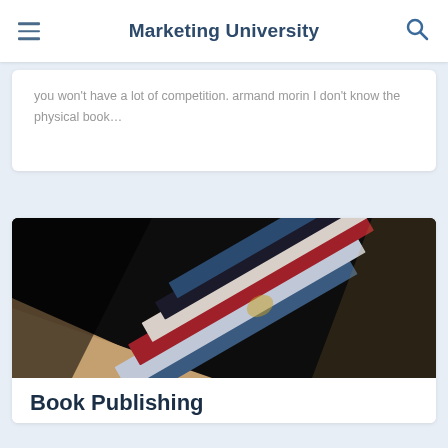Marketing University
you won't have a lot of competition. armand morin I don't know the physical book…
[Figure (photo): Close-up photo of a stack of books seen from the spine, showing colorful book covers including red, blue, and illustrated covers, against a dark background with warm light on a tan surface.]
Book Publishing